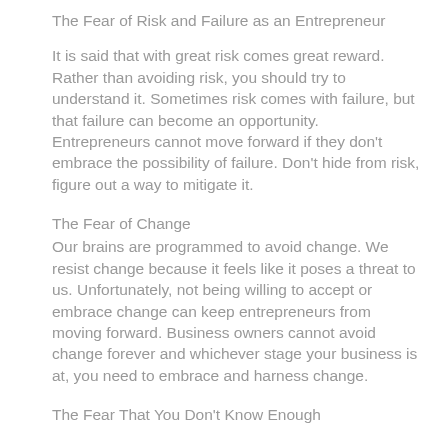The Fear of Risk and Failure as an Entrepreneur
It is said that with great risk comes great reward. Rather than avoiding risk, you should try to understand it. Sometimes risk comes with failure, but that failure can become an opportunity. Entrepreneurs cannot move forward if they don't embrace the possibility of failure. Don't hide from risk, figure out a way to mitigate it.
The Fear of Change
Our brains are programmed to avoid change. We resist change because it feels like it poses a threat to us. Unfortunately, not being willing to accept or embrace change can keep entrepreneurs from moving forward. Business owners cannot avoid change forever and whichever stage your business is at, you need to embrace and harness change.
The Fear That You Don't Know Enough